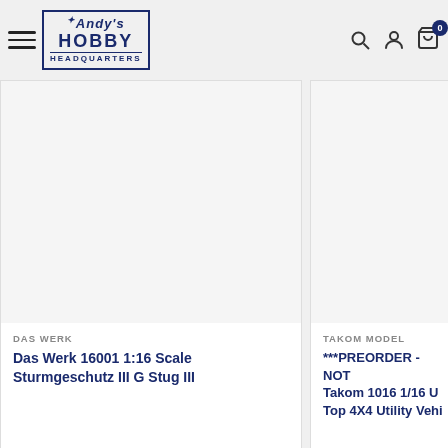Andy's Hobby Headquarters
DAS WERK
Das Werk 16001 1:16 Scale Sturmgeschutz III G Stug III
TAKOM MODEL
***PREORDER - NOT... Takom 1016 1/16 U... Top 4X4 Utility Vehi...